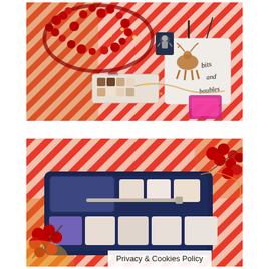[Figure (photo): Flat lay photo on red and white striped wrapping paper background showing: a red berry garland/wreath, string lights, a small white drawstring bag with 'bits and baubles' written in black script and a copper/rose gold reindeer ornament tag, a small navy gift tag with an astronaut illustration, a Sleek MakeUP eyeshadow palette in nude/brown tones, twine/string, and a pink and gold compact.]
[Figure (photo): Close-up photo of a navy blue eyeshadow palette open to reveal 8 eyeshadow pans in shades ranging from purple/lilac to pale pink and nude tones, with a brush applicator. Surrounded by red berries on branches and striped gift wrap background.]
Privacy & Cookies Policy